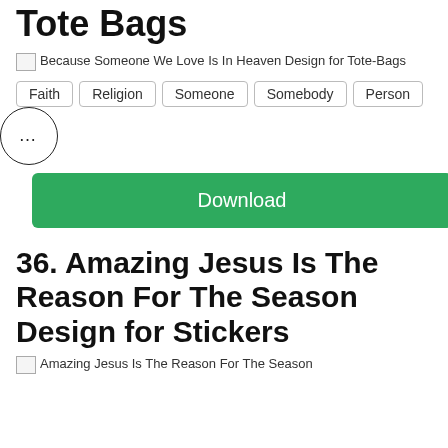Tote Bags
[Figure (photo): Because Someone We Love Is In Heaven Design for Tote-Bags]
Faith
Religion
Someone
Somebody
Person
... (more options)
Download
36. Amazing Jesus Is The Reason For The Season Design for Stickers
[Figure (photo): Amazing Jesus Is The Reason For The Season]